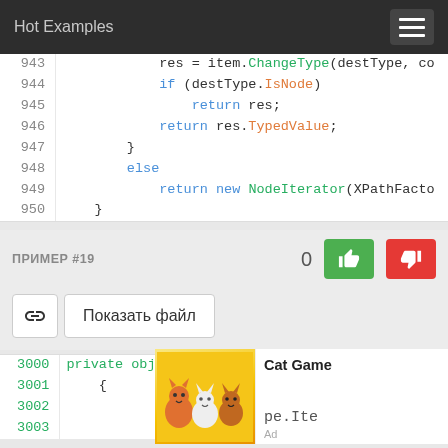Hot Examples
943  res = item.ChangeType(destType, co
944  if (destType.IsNode)
945       return res;
946    return res.TypedValue;
947  }
948  else
949       return new NodeIterator(XPathFacto
950  }
ПРИМЕР #19   0
Показать файл
3000  private object CompileConversion(object ex
3001  {
3002
3003